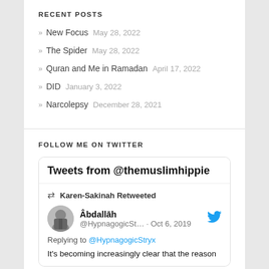RECENT POSTS
» New Focus  May 28, 2022
» The Spider  May 28, 2022
» Quran and Me in Ramadan  April 17, 2022
» DID  January 3, 2022
» Narcolepsy  December 28, 2021
FOLLOW ME ON TWITTER
[Figure (screenshot): Twitter widget showing 'Tweets from @themuslimhippie'. Karen-Sakinah Retweeted a tweet by Âbdallāh (@HypnagogicSt...) on Oct 6, 2019. Replying to @HypnagogicStryx. Text: It's becoming increasingly clear that the reason]